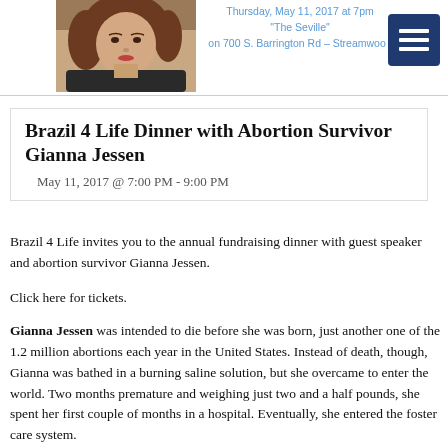Thursday, May 11, 2017 at 7pm
"The Seville"
on 700 S. Barrington Rd – Streamwood
[Figure (photo): Headshot photo of a woman with red/brown curly hair wearing a dark top]
Brazil 4 Life Dinner with Abortion Survivor Gianna Jessen
May 11, 2017 @ 7:00 PM - 9:00 PM
Brazil 4 Life invites you to the annual fundraising dinner with guest speaker and abortion survivor Gianna Jessen.
Click here for tickets.
Gianna Jessen was intended to die before she was born, just another one of the 1.2 million abortions each year in the United States. Instead of death, though, Gianna was bathed in a burning saline solution, but she overcame to enter the world. Two months premature and weighing just two and a half pounds, she spent her first couple of months in a hospital. Eventually, she entered the foster care system.